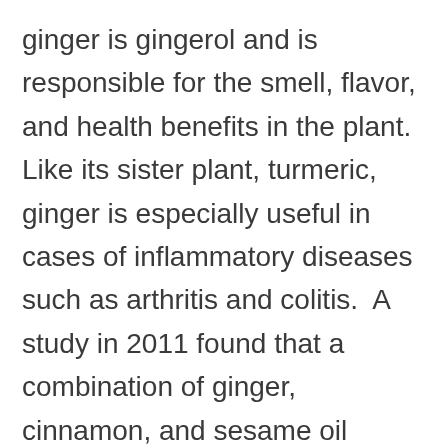ginger is gingerol and is responsible for the smell, flavor, and health benefits in the plant.  Like its sister plant, turmeric, ginger is especially useful in cases of inflammatory diseases such as arthritis and colitis.  A study in 2011 found that a combination of ginger, cinnamon, and sesame oil applied topically helped reduce pain and stiffness in people with Osteoarthritis.  Ingesting ginger as a tea or in capsules enhances this effect by lowering systemic inflammation.